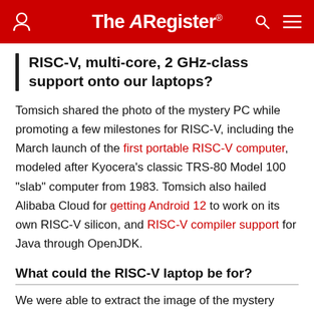The Register
RISC-V, multi-core, 2 GHz-class support onto our laptops?
Tomsich shared the photo of the mystery PC while promoting a few milestones for RISC-V, including the March launch of the first portable RISC-V computer, modeled after Kyocera's classic TRS-80 Model 100 "slab" computer from 1983. Tomsich also hailed Alibaba Cloud for getting Android 12 to work on its own RISC-V silicon, and RISC-V compiler support for Java through OpenJDK.
What could the RISC-V laptop be for?
We were able to extract the image of the mystery